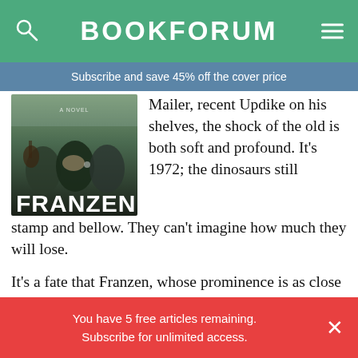BOOKFORUM
Subscribe and save 45% off the cover price
[Figure (photo): Book cover for a novel with the title FRANZEN, showing people sitting together, one playing guitar]
Mailer, recent Updike on his shelves, the shock of the old is both soft and profound. It’s 1972; the dinosaurs still stamp and bellow. They can’t imagine how much they will lose.
It’s a fate that Franzen, whose prominence is as close a thing as fiction in this time can offer up to equal Updike’s or Mailer’s Cold War stature, seems eager
You have 5 free articles remaining.
Subscribe for unlimited access.